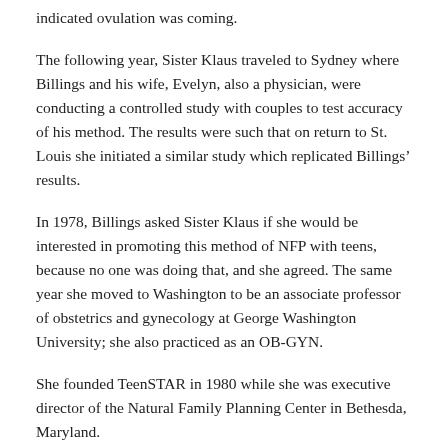indicated ovulation was coming.
The following year, Sister Klaus traveled to Sydney where Billings and his wife, Evelyn, also a physician, were conducting a controlled study with couples to test accuracy of his method. The results were such that on return to St. Louis she initiated a similar study which replicated Billings' results.
In 1978, Billings asked Sister Klaus if she would be interested in promoting this method of NFP with teens, because no one was doing that, and she agreed. The same year she moved to Washington to be an associate professor of obstetrics and gynecology at George Washington University; she also practiced as an OB-GYN.
She founded TeenSTAR in 1980 while she was executive director of the Natural Family Planning Center in Bethesda, Maryland.
“It’s not birth control, it is a method of fertility awareness,” she explained. At first the program was staffed by herself and another Medical Mission Sister, Sister Mary Martin. The first students of Teen Star had just turned 17